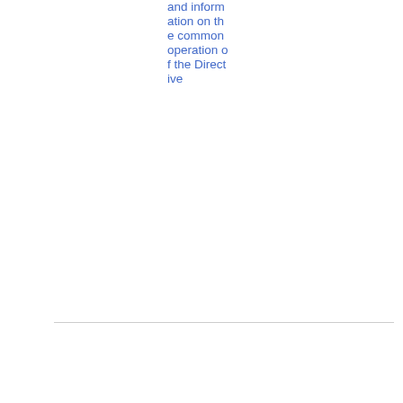and information on the common operation of the Directive
| Date | ID | Title | Tags | Type | Download |
| --- | --- | --- | --- | --- | --- |
| 11/05/2005 | 05-331 | Press release-Facilitating the... | Market Abuse | Press Releases | Press Release | PDF 72.91 KB |